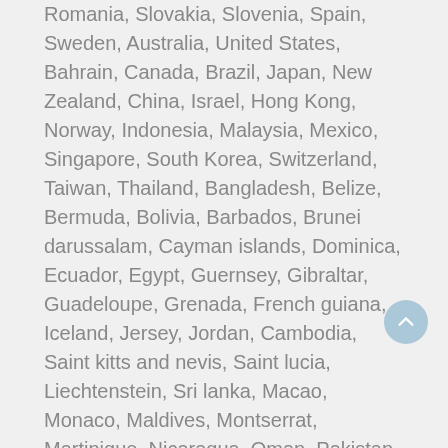Romania, Slovakia, Slovenia, Spain, Sweden, Australia, United States, Bahrain, Canada, Brazil, Japan, New Zealand, China, Israel, Hong Kong, Norway, Indonesia, Malaysia, Mexico, Singapore, South Korea, Switzerland, Taiwan, Thailand, Bangladesh, Belize, Bermuda, Bolivia, Barbados, Brunei darussalam, Cayman islands, Dominica, Ecuador, Egypt, Guernsey, Gibraltar, Guadeloupe, Grenada, French guiana, Iceland, Jersey, Jordan, Cambodia, Saint kitts and nevis, Saint lucia, Liechtenstein, Sri lanka, Macao, Monaco, Maldives, Montserrat, Martinique, Nicaragua, Oman, Pakistan, Peru, Paraguay, Reunion, Turks and caicos islands, Aruba, Saudi arabia, South africa, United arab emirates, Ukraine, Chile, Bahamas, Colombia, Costa rica, Guatemala, Honduras, Jamaica, Kuwait, Panama, Philippines, Qatar, Trinidad and tobago, Uruguay, Viet nam, Russian federation.
Model: Modern
Colour: Silver
Department: Adults